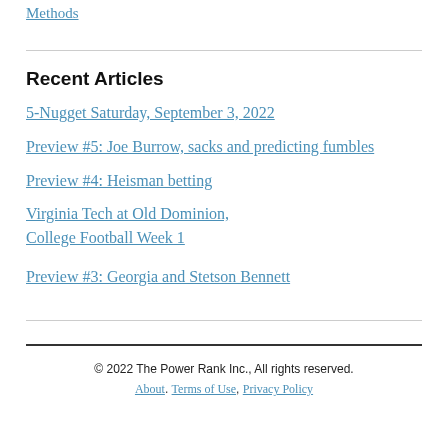Methods
Recent Articles
5-Nugget Saturday, September 3, 2022
Preview #5: Joe Burrow, sacks and predicting fumbles
Preview #4: Heisman betting
Virginia Tech at Old Dominion, College Football Week 1
Preview #3: Georgia and Stetson Bennett
© 2022 The Power Rank Inc., All rights reserved. About, Terms of Use, Privacy Policy